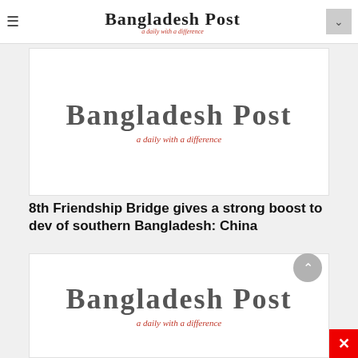Bangladesh Post — a daily with a difference (navigation bar)
[Figure (logo): Bangladesh Post newspaper logo with Gothic-style blackletter font and red italic tagline 'a daily with a difference']
8th Friendship Bridge gives a strong boost to dev of southern Bangladesh: China
[Figure (logo): Bangladesh Post newspaper logo with Gothic-style blackletter font and red italic tagline 'a daily with a difference', second instance]